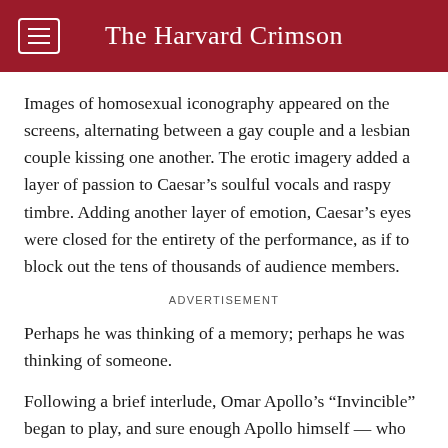The Harvard Crimson
Images of homosexual iconography appeared on the screens, alternating between a gay couple and a lesbian couple kissing one another. The erotic imagery added a layer of passion to Caesar’s soulful vocals and raspy timbre. Adding another layer of emotion, Caesar’s eyes were closed for the entirety of the performance, as if to block out the tens of thousands of audience members.
ADVERTISEMENT
Perhaps he was thinking of a memory; perhaps he was thinking of someone.
Following a brief interlude, Omar Apollo’s “Invincible” began to play, and sure enough Apollo himself — who had performed earlier in the day — walked onto the stage to